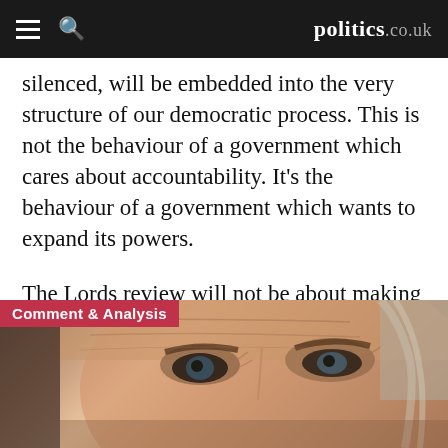politics.co.uk
silenced, will be embedded into the very structure of our democratic process. This is not the behaviour of a government which cares about accountability. It's the behaviour of a government which wants to expand its powers.
The Lords review will not be about making it more democratic. It'll be about making the government more powerful.
[Figure (photo): Close-up photograph of an elderly man's face, showing eyes and forehead with wrinkles and grey hair, with a 'Comment & Analysis' label overlay in red at the top left.]